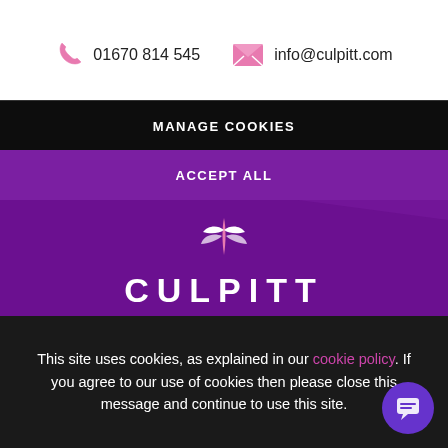01670 814 545  info@culpitt.com
[Figure (logo): Culpitt logo with leaf/petal icon above the word CULPITT in white on purple background]
This site uses cookies, as explained in our cookie policy. If you agree to our use of cookies then please close this message and continue to use this site.
MANAGE COOKIES
ACCEPT ALL